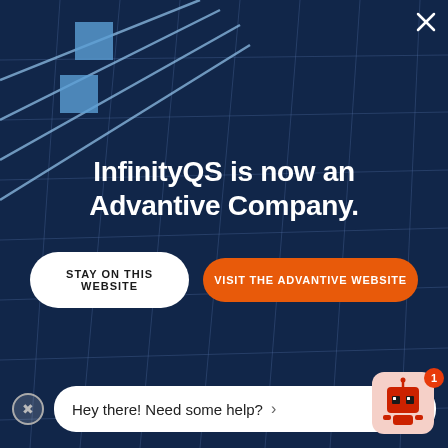[Figure (illustration): Dark navy blue background with building glass window grid lines and light blue diagonal decorative lines and squares in the top-left corner. White X close button top-right.]
InfinityQS is now an Advantive Company.
STAY ON THIS WEBSITE
VISIT THE ADVANTIVE WEBSITE
Hey there! Need some help?